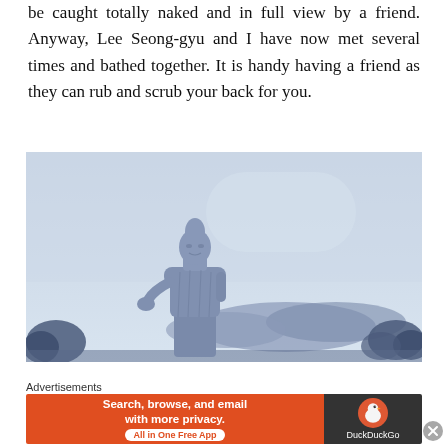be caught totally naked and in full view by a friend. Anyway, Lee Seong-gyu and I have now met several times and bathed together. It is handy having a friend as they can rub and scrub your back for you.
[Figure (photo): A large standing Buddha statue photographed against a pale blue-grey sky with mountains and trees visible in the background. The statue appears to be light blue or grey in color.]
Advertisements
[Figure (screenshot): DuckDuckGo advertisement banner: orange left panel reading 'Search, browse, and email with more privacy. All in One Free App' and dark right panel with DuckDuckGo duck logo and brand name.]